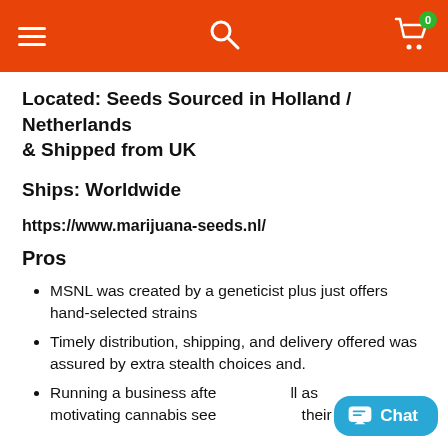Navigation header with hamburger menu, search icon, and cart with badge 0
Located: Seeds Sourced in Holland / Netherlands & Shipped from UK
Ships: Worldwide
https://www.marijuana-seeds.nl/
Pros
MSNL was created by a geneticist plus just offers hand-selected strains
Timely distribution, shipping, and delivery offered was assured by extra stealth choices and.
Running a business after ... as motivating cannabis see... their